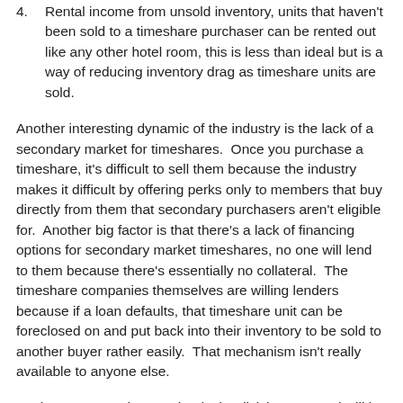4. Rental income from unsold inventory, units that haven't been sold to a timeshare purchaser can be rented out like any other hotel room, this is less than ideal but is a way of reducing inventory drag as timeshare units are sold.
Another interesting dynamic of the industry is the lack of a secondary market for timeshares.  Once you purchase a timeshare, it's difficult to sell them because the industry makes it difficult by offering perks only to members that buy directly from them that secondary purchasers aren't eligible for.  Another big factor is that there's a lack of financing options for secondary market timeshares, no one will lend to them because there's essentially no collateral.  The timeshare companies themselves are willing lenders because if a loan defaults, that timeshare unit can be foreclosed on and put back into their inventory to be sold to another buyer rather easily.  That mechanism isn't really available to anyone else.
Back to HGV, Mark Wang leads the division now and will be the CEO once the spinoff commences.  He's been in charge of Hilton's timeshare operations for many years and under his...